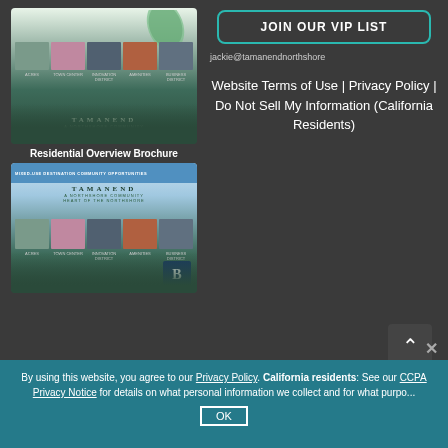[Figure (illustration): Tamanend Northshore residential overview brochure cover showing photo thumbnails of community areas and Tamanend logo]
Residential Overview Brochure
[Figure (illustration): Tamanend mixed-use destination community opportunities brochure cover with Tamanend logo and community photos]
JOIN OUR VIP LIST
jackie@tamanendnorthshore
Website Terms of Use | Privacy Policy | Do Not Sell My Information (California Residents)
By using this website, you agree to our Privacy Policy. California residents: See our CCPA Privacy Notice for details on what personal information we collect and for what purpo...
OK